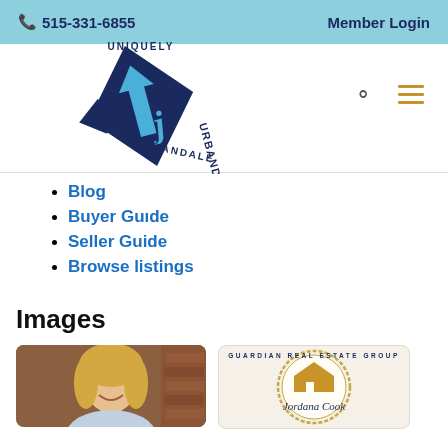📞 515-331-6855   Member Login
[Figure (logo): Uniquely Urbandale logo — dark blue diamond shape with 'UJ' letters and a blue arrow pointing up, text 'UNIQUELY URBANDALE' around it in a rotated badge style]
Blog
Buyer Guide
Seller Guide
Browse listings
Images
[Figure (photo): Photo of a smiling blonde woman in front of a brick wall]
[Figure (logo): Guardian Real Estate Group circular logo with gold house graphic and script text 'Jordana Cook']